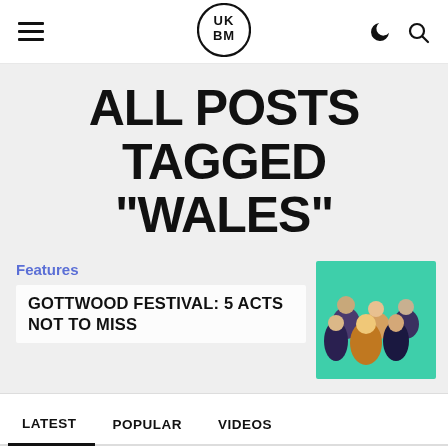UKBM logo, hamburger menu, moon icon, search icon
ALL POSTS TAGGED "WALES"
Features
GOTTWOOD FESTIVAL: 5 ACTS NOT TO MISS
[Figure (photo): Group photo of musicians/artists with teal/green background]
LATEST  POPULAR  VIDEOS
[Figure (photo): Album artwork – circular teal vinyl/disc image]
ARCANE – SO NICE (DEEPOSTATICA RECORDS)